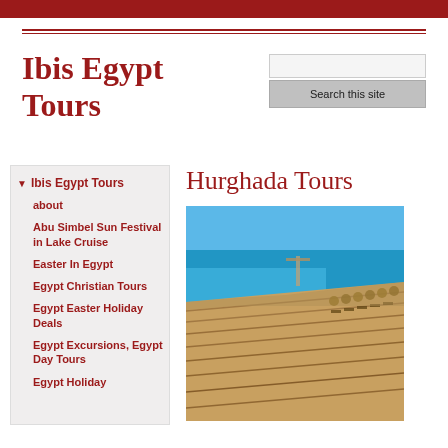Ibis Egypt Tours
Ibis Egypt Tours
about
Abu Simbel Sun Festival in Lake Cruise
Easter In Egypt
Egypt Christian Tours
Egypt Easter Holiday Deals
Egypt Excursions, Egypt Day Tours
Egypt Holiday
Hurghada Tours
[Figure (photo): Aerial view of Hurghada beach resort showing terraced sandy beach with sun loungers and thatched umbrellas, blue sea/Red Sea coastline, and pier in background under clear blue sky]